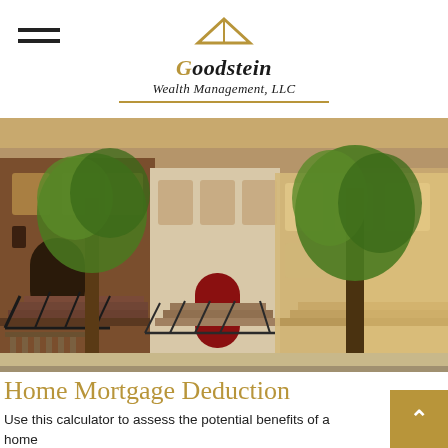Goodstein Wealth Management, LLC
[Figure (photo): Street-level photo of classic brownstone townhouses with ornate staircases and green trees lining a city sidewalk, warm golden sunlight from the right.]
Home Mortgage Deduction
Use this calculator to assess the potential benefits of a home mortgage deduction.